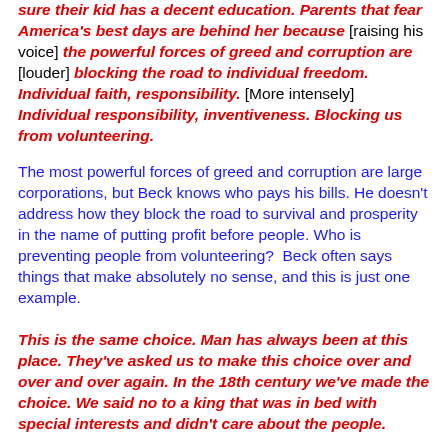sure their kid has a decent education. Parents that fear America's best days are behind her because [raising his voice] the powerful forces of greed and corruption are [louder] blocking the road to individual freedom. Individual faith, responsibility. [More intensely] Individual responsibility, inventiveness. Blocking us from volunteering.
The most powerful forces of greed and corruption are large corporations, but Beck knows who pays his bills. He doesn't address how they block the road to survival and prosperity in the name of putting profit before people. Who is preventing people from volunteering? Beck often says things that make absolutely no sense, and this is just one example.
This is the same choice. Man has always been at this place. They've asked us to make this choice over and over and over again. In the 18th century we've made the choice. We said no to a king that was in bed with special interests and didn't care about the people.